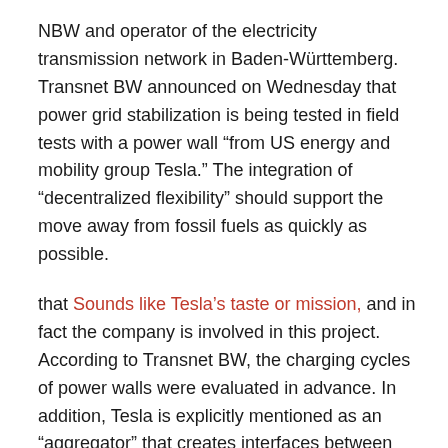NBW and operator of the electricity transmission network in Baden-Württemberg. Transnet BW announced on Wednesday that power grid stabilization is being tested in field tests with a power wall “from US energy and mobility group Tesla.” The integration of “decentralized flexibility” should support the move away from fossil fuels as quickly as possible.
that Sounds like Tesla’s taste or mission, and in fact the company is involved in this project. According to Transnet BW, the charging cycles of power walls were evaluated in advance. In addition, Tesla is explicitly mentioned as an “aggregator” that creates interfaces between Powerwall and power customers with network operators in field tests. The Transnet therefore does not have access to individual systems, but absorbs the power bundled into the network by Tesla.